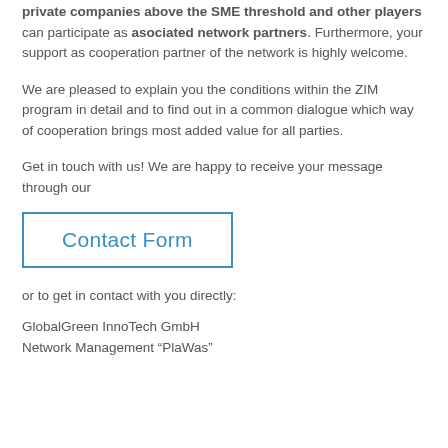private companies above the SME threshold and other players can participate as asociated network partners. Furthermore, your support as cooperation partner of the network is highly welcome.
We are pleased to explain you the conditions within the ZIM program in detail and to find out in a common dialogue which way of cooperation brings most added value for all parties.
Get in touch with us! We are happy to receive your message through our
[Figure (other): Contact Form button — a rectangular outlined box with blue border containing the text 'Contact Form' in blue]
or to get in contact with you directly:
GlobalGreen InnoTech GmbH
Network Management “PlaWas”